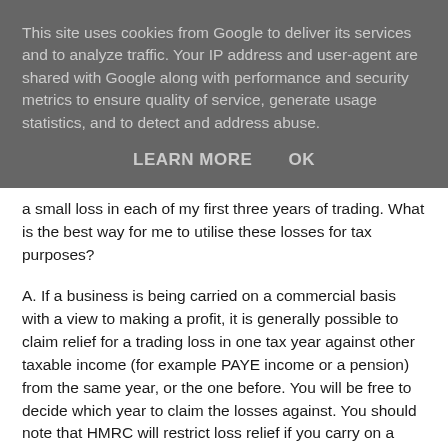This site uses cookies from Google to deliver its services and to analyze traffic. Your IP address and user-agent are shared with Google along with performance and security metrics to ensure quality of service, generate usage statistics, and to detect and address abuse.
LEARN MORE    OK
a small loss in each of my first three years of trading. What is the best way for me to utilise these losses for tax purposes?
A. If a business is being carried on a commercial basis with a view to making a profit, it is generally possible to claim relief for a trading loss in one tax year against other taxable income (for example PAYE income or a pension) from the same year, or the one before. You will be free to decide which year to claim the losses against. You should note that HMRC will restrict loss relief if you carry on a trade but spend an average of less than ten hours a week on commercial activities.
Where a loss is incurred in any of the first four tax years of a new business, the loss can be carried back against total income of the three previous tax years, starting with the earliest year. The advantage of doing so is that income tax...